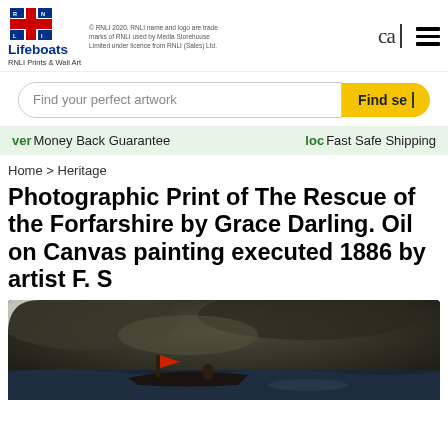[Figure (logo): RNLI Lifeboats logo with flag emblem and text 'Lifeboats RNLI Prints & Wall Art']
© RNLI 2020. RNLI name and logo are trade marks of RNLI used by Media Storehouse Limited under licence from RNLI (Sales) Ltd.
cal
[Figure (other): Hamburger menu icon (three horizontal bars)]
[Figure (other): Search bar with placeholder 'Find your perfect artwork' and yellow 'Find sea' button]
ver Money Back Guarantee   loc Fast Safe Shipping
Home > Heritage
Photographic Print of The Rescue of the Forfarshire by Grace Darling. Oil on Canvas painting executed 1886 by artist F. S
[Figure (photo): Dark oil painting depicting a dramatic sea rescue scene with figures in a boat on stormy waters, a red flag visible, partially shown]